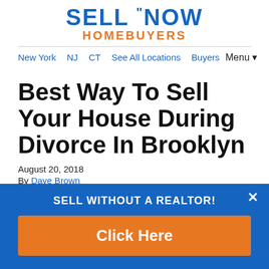SELL NOW HOMEBUYERS
New York   NJ   CT   See All Locations   Buyers   Menu▼
Best Way To Sell Your House During Divorce In Brooklyn
August 20, 2018
By Dave Brown
[Figure (infographic): Blue popup banner with text 'SELL WITHOUT A REALTOR!' and orange 'Click Here' button, with a white X close button in top right corner]